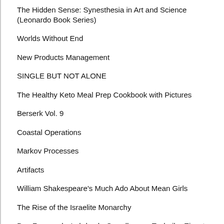The Hidden Sense: Synesthesia in Art and Science (Leonardo Book Series)
Worlds Without End
New Products Management
SINGLE BUT NOT ALONE
The Healthy Keto Meal Prep Cookbook with Pictures
Berserk Vol. 9
Coastal Operations
Markov Processes
Artifacts
William Shakespeare's Much Ado About Mean Girls
The Rise of the Israelite Monarchy
Das Feuerwehr-Lehrbuch: Grundlagen - Technik - Einsatz